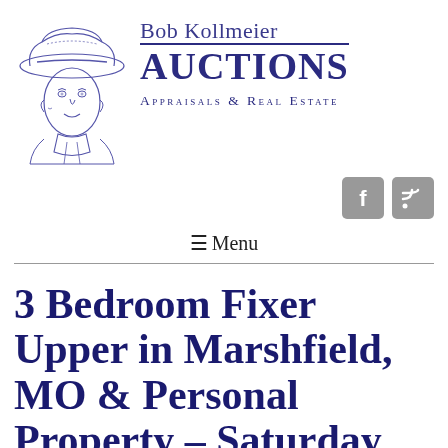[Figure (logo): Pencil sketch illustration of a man wearing a cowboy hat, facing forward slightly to the side, in blue ink style]
Bob Kollmeier AUCTIONS Appraisals & Real Estate
[Figure (other): Facebook icon button (grey square with white f)]
[Figure (other): RSS feed icon button (grey square with white wifi/rss symbol)]
≡ Menu
3 Bedroom Fixer Upper in Marshfield, MO & Personal Property – Saturday